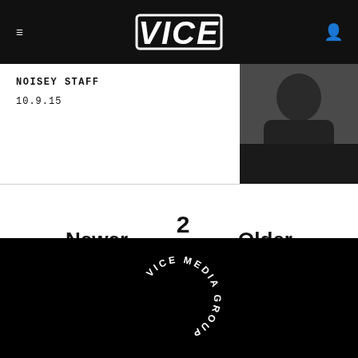VICE
NOISEY STAFF
10.9.15
[Figure (photo): Dark thumbnail image of a person in a black hoodie]
Newer  2 / 3  Older
[Figure (logo): Vice Media Group circular text logo on black background]